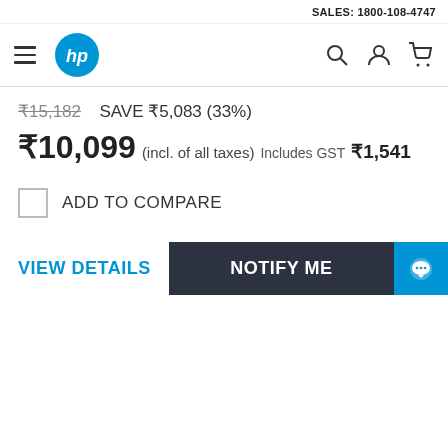SALES: 1800-108-4747
[Figure (logo): HP logo blue circle with white HP text, hamburger menu icon, search icon, user icon, cart icon]
₹15,182  SAVE ₹5,083 (33%)
₹10,099  (incl. of all taxes) Includes GST ₹1,541
ADD TO COMPARE
VIEW DETAILS
NOTIFY ME